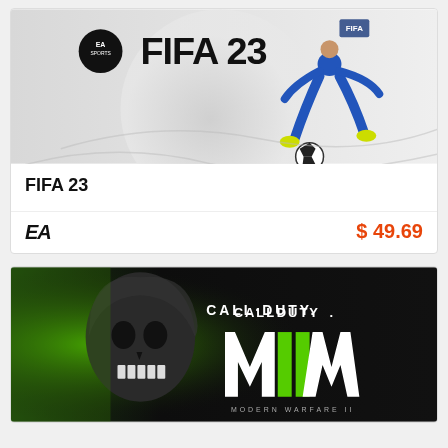[Figure (photo): FIFA 23 video game cover art showing a soccer player in blue uniform kicking a ball, with EA Sports logo and FIFA 23 text on a grey background]
FIFA 23
[Figure (logo): EA Sports logo in black]
$ 49.69
[Figure (photo): Call of Duty Modern Warfare II cover art showing a masked skull figure on green and dark background with CALL·DUTY· MIIA MODERN WARFARE II text]